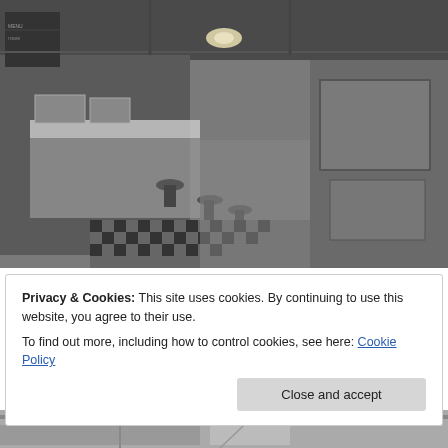[Figure (photo): Black and white historical photograph of a diner interior, showing a long counter with round swivel stools, display cases, a checkerboard floor, and booths along the right wall. The view is from the front looking toward the back of the diner.]
Privacy & Cookies: This site uses cookies. By continuing to use this website, you agree to their use.
To find out more, including how to control cookies, see here: Cookie Policy
Close and accept
[Figure (photo): Partial black and white historical photograph visible at the bottom of the page, showing what appears to be another diner or restaurant interior.]